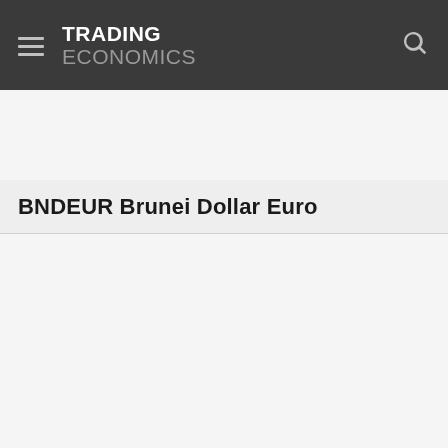TRADING ECONOMICS
BNDEUR Brunei Dollar Euro
[Figure (other): Empty chart area placeholder for BNDEUR Brunei Dollar Euro currency pair chart]
BNDEUR 1D
Brunei Dollar Euro 0.71745 +0.00083 (+0.12%)